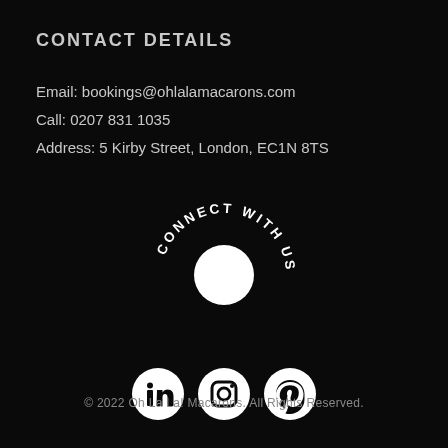CONTACT DETAILS
Email: bookings@ohlalamacarons.com
Call: 0207 831 1035
Address: 5 Kirby Street, London, EC1N 8TS
[Figure (illustration): Circular text reading 'CONNECT WITH US' with a white circle in the center on a black background]
[Figure (illustration): Three white circular social media icons: LinkedIn, Instagram, Pinterest]
© 2022 Oh La La! Macarons. All Rights Reserved.